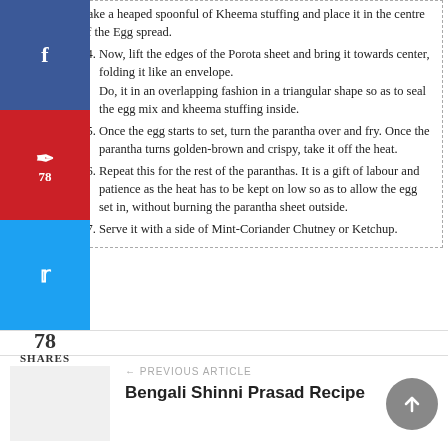Take a heaped spoonful of Kheema stuffing and place it in the centre of the Egg spread.
4. Now, lift the edges of the Porota sheet and bring it towards center, folding it like an envelope. Do, it in an overlapping fashion in a triangular shape so as to seal the egg mix and kheema stuffing inside.
5. Once the egg starts to set, turn the parantha over and fry. Once the parantha turns golden-brown and crispy, take it off the heat.
6. Repeat this for the rest of the paranthas. It is a gift of labour and patience as the heat has to be kept on low so as to allow the egg set in, without burning the parantha sheet outside.
7. Serve it with a side of Mint-Coriander Chutney or Ketchup.
78 SHARES
BENGALI RECIPES  BREADS RECIPES  EGG RECIPES  INDIAN BREADS RECIPE  KOLKATA  MUTTON RECIPES  STREET FOOD
← PREVIOUS ARTICLE
Bengali Shinni Prasad Recipe